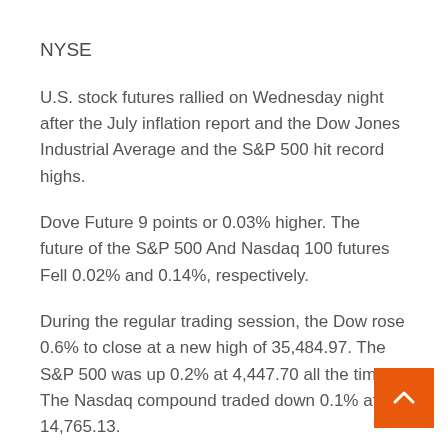NYSE
U.S. stock futures rallied on Wednesday night after the July inflation report and the Dow Jones Industrial Average and the S&P 500 hit record highs.
Dove Future 9 points or 0.03% higher. The future of the S&P 500 And Nasdaq 100 futures Fell 0.02% and 0.14%, respectively.
During the regular trading session, the Dow rose 0.6% to close at a new high of 35,484.97. The S&P 500 was up 0.2% at 4,447.70 all the time. The Nasdaq compound traded down 0.1% at 14,765.13.
According to the Department of Labor, the consumer price index rose 5.4% in July last year and 0.5% in the previous month.